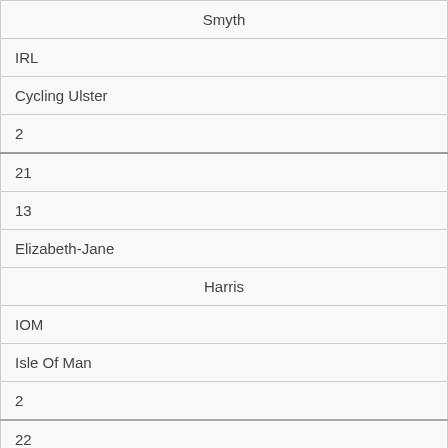| Smyth |
| IRL |
| Cycling Ulster |
| 2 |
| 21 |
| 13 |
| Elizabeth-Jane |
| Harris |
| IOM |
| Isle Of Man |
| 2 |
| 22 |